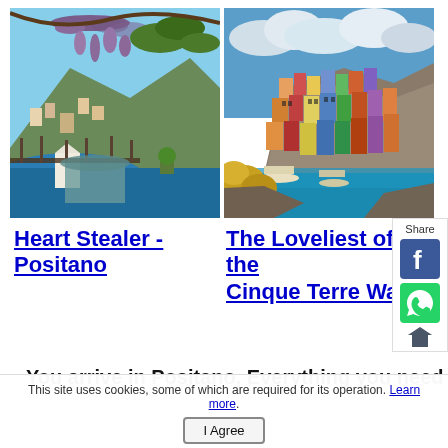[Figure (photo): Two travel destination photos side by side: left shows a terrace with wisteria flowers overlooking Positano coastline; right shows colorful buildings of Cinque Terre clinging to a rocky cliff above turquoise sea]
Heart Stealer - Positano
The Loveliest of the Cinque Terre Walks
You arrive in Positano, Everything you need
This site uses cookies, some of which are required for its operation. Learn more.
I Agree